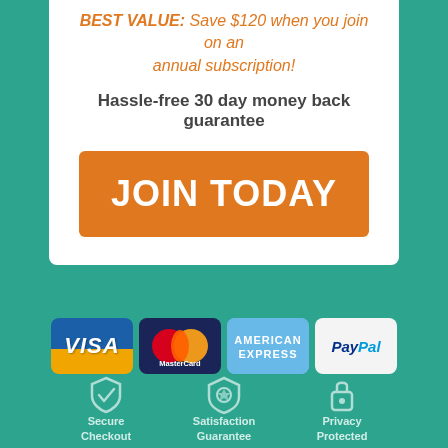BEST VALUE: Save $120 when you join on an annual subscription!
Hassle-free 30 day money back guarantee
JOIN TODAY
[Figure (logo): Payment method logos: Visa, MasterCard, American Express, PayPal]
Secure Checkout
Satisfaction Guarantee
Privacy Protected